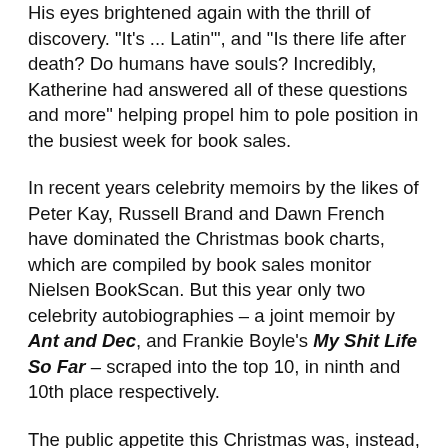His eyes brightened again with the thrill of discovery. "It's ... Latin'", and "Is there life after death? Do humans have souls? Incredibly, Katherine had answered all of these questions and more" helping propel him to pole position in the busiest week for book sales.
In recent years celebrity memoirs by the likes of Peter Kay, Russell Brand and Dawn French have dominated the Christmas book charts, which are compiled by book sales monitor Nielsen BookScan. But this year only two celebrity autobiographies – a joint memoir by Ant and Dec, and Frankie Boyle's My Shit Life So Far – scraped into the top 10, in ninth and 10th place respectively.
The public appetite this Christmas was, instead, for fiction, with two titles from Stephenie Meyer's teen vampire series, a new novel from Jodi Picoult and the first title in late Swedish author Stieg Larsson's Millennium trilogy, The Girl with the Dragon Tattoo, all making the top 10 ahead of a host of celebrity autobiographies.
Kay's second volume of memoir, Saturday Night Peter,